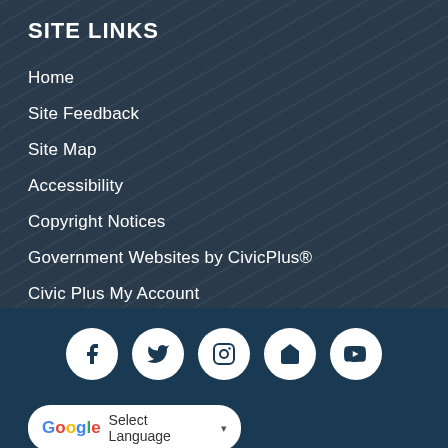SITE LINKS
Home
Site Feedback
Site Map
Accessibility
Copyright Notices
Government Websites by CivicPlus®
Civic Plus My Account
[Figure (infographic): Row of five social media icon circles (Facebook, Twitter, Instagram, Nextdoor/home, YouTube) on a dark navy background]
Select Language